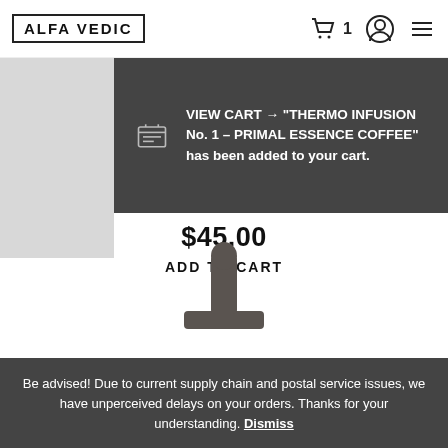ALFA VEDIC
VIEW CART → "THERMO INFUSION No. 1 – PRIMAL ESSENCE COFFEE" has been added to your cart.
$45.00
ADD TO CART
[Figure (photo): Dark grey/brown metal pin or toggle component photographed on white background]
Be advised! Due to current supply chain and postal service issues, we have unperceived delays on your orders. Thanks for your understanding. Dismiss